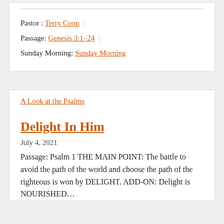Pastor : Terry Coon | Passage: Genesis 3:1–24 | Sunday Morning: Sunday Morning
A Look at the Psalms
Delight In Him
July 4, 2021
Passage: Psalm 1 THE MAIN POINT: The battle to avoid the path of the world and choose the path of the righteous is won by DELIGHT. ADD-ON: Delight is NOURISHED…